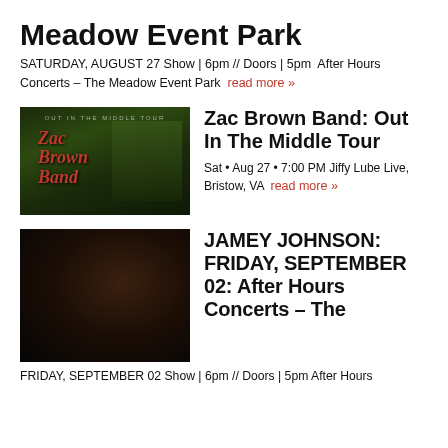Meadow Event Park
SATURDAY, AUGUST 27 Show | 6pm // Doors | 5pm  After Hours Concerts – The Meadow Event Park  read more »
[Figure (photo): Zac Brown Band promotional image for Out In The Middle Tour showing band members in a wooded setting with the band logo]
Zac Brown Band: Out In The Middle Tour
Sat • Aug 27 • 7:00 PM Jiffy Lube Live, Bristow, VA  read more »
[Figure (photo): Black and white photo of Jamey Johnson playing guitar, shown in profile with a beard]
JAMEY JOHNSON: FRIDAY, SEPTEMBER 02: After Hours Concerts – The
FRIDAY, SEPTEMBER 02 Show | 6pm // Doors | 5pm After Hours